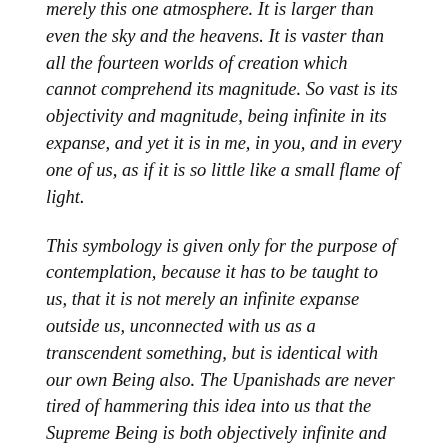merely this one atmosphere. It is larger than even the sky and the heavens. It is vaster than all the fourteen worlds of creation which cannot comprehend its magnitude. So vast is its objectivity and magnitude, being infinite in its expanse, and yet it is in me, in you, and in every one of us, as if it is so little like a small flame of light.
This symbology is given only for the purpose of contemplation, because it has to be taught to us, that it is not merely an infinite expanse outside us, unconnected with us as a transcendent something, but is identical with our own Being also. The Upanishads are never tired of hammering this idea into us that the Supreme Being is both objectively infinite and subjectively the Self of every one. This is the principal meditation of almost every part of any Upanishad. It is the vast infinitude, incomprehensible to the mind, and yet nothing can be so near to us as That. It is so distant as the distant horizons themselves because of its